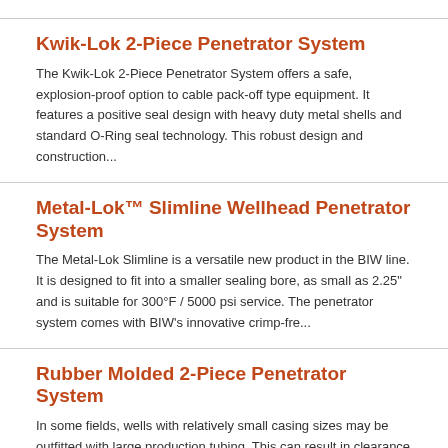Kwik-Lok 2-Piece Penetrator System
The Kwik-Lok 2-Piece Penetrator System offers a safe, explosion-proof option to cable pack-off type equipment. It features a positive seal design with heavy duty metal shells and standard O-Ring seal technology. This robust design and construction...
Metal-Lok™ Slimline Wellhead Penetrator System
The Metal-Lok Slimline is a versatile new product in the BIW line. It is designed to fit into a smaller sealing bore, as small as 2.25" and is suitable for 300°F / 5000 psi service. The penetrator system comes with BIW's innovative crimp-fre...
Rubber Molded 2-Piece Penetrator System
In some fields, wells with relatively small casing sizes may be outfitted with large production tubing. This can result in clearance problems just below the tubing hanger, with virtually no space available for a lower connector. For these situations, BIW Co...